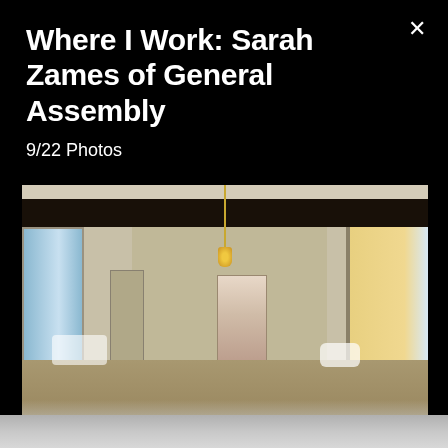Where I Work: Sarah Zames of General Assembly
9/22 Photos
[Figure (photo): Interior of a building under renovation/demolition showing bare walls with peeling paint, exposed ceiling with dark beam and hanging yellow work light, windows on left and right walls, doorway in back wall, debris on floor]